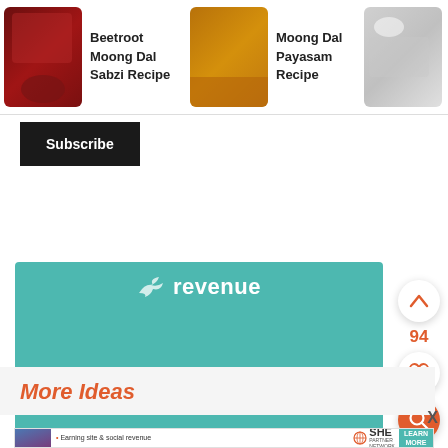[Figure (screenshot): Website navigation bar showing food recipe thumbnails: Beetroot Moong Dal Sabzi Recipe, Moong Dal Payasam Recipe, Sweet Moong Dal Kozhukatta with food images]
Subscribe
[Figure (infographic): Teal advertisement banner with bird icon, the word 'revenue', and a LEARN MORE button]
[Figure (infographic): Side action buttons: up chevron arrow button, count 94, heart/like button, and orange search button]
More Ideas
[Figure (infographic): Bottom advertisement banner for SHE Partner Network: Earning site & social revenue, with woman photo, SHE logo, and LEARN MORE button]